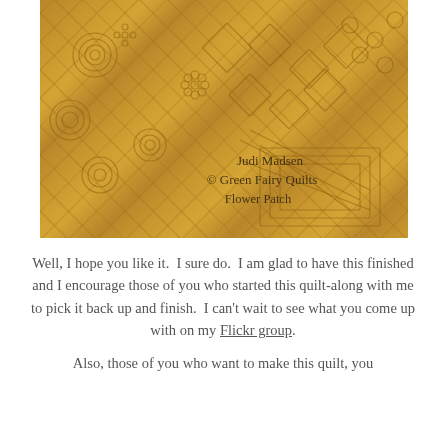[Figure (photo): Close-up photograph of a golden/amber monochromatic quilt with intricate quilting patterns including spirals, diamonds, floral motifs, and geometric designs. A watermark reads 'Judi Madsen © Green Fairy Quilts Flower Patch'.]
Well, I hope you like it.  I sure do.  I am glad to have this finished and I encourage those of you who started this quilt-along with me to pick it back up and finish.  I can't wait to see what you come up with on my Flickr group.
Also, those of you who want to make this quilt, you